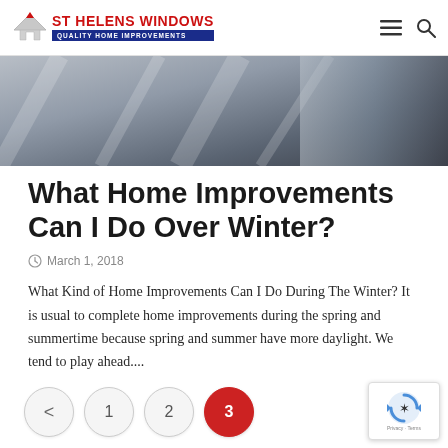ST HELENS WINDOWS — QUALITY HOME IMPROVEMENTS
[Figure (photo): Close-up blurred photo of what appears to be newspaper or document pages in grayscale tones]
What Home Improvements Can I Do Over Winter?
March 1, 2018
What Kind of Home Improvements Can I Do During The Winter? It is usual to complete home improvements during the spring and summertime because spring and summer have more daylight. We tend to play ahead....
< 1 2 3